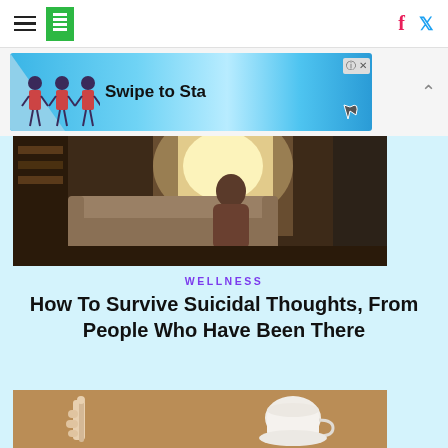HuffPost navigation with hamburger menu, logo, Facebook and Twitter icons
[Figure (screenshot): Advertisement banner: 'Swipe to Start' with cartoon figures on blue background]
[Figure (photo): Person sitting by a window with bright sunlight, viewed from behind, in a living room with a couch]
WELLNESS
How To Survive Suicidal Thoughts, From People Who Have Been There
[Figure (photo): Hand holding a thermometer with a white coffee cup in the background on a wooden surface]